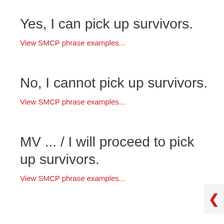Yes, I can pick up survivors.
View SMCP phrase examples...
No, I cannot pick up survivors.
View SMCP phrase examples...
MV ... / I will proceed to pick up survivors.
View SMCP phrase examples...